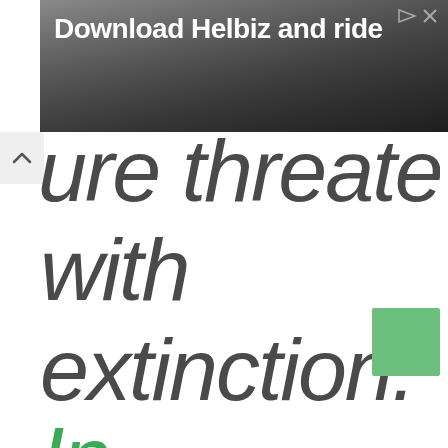[Figure (screenshot): Advertisement banner showing 'Download Helbiz and ride' with a photo of scooter handlebars in the background]
...ure threatened with extinction. In the island nation, dogs